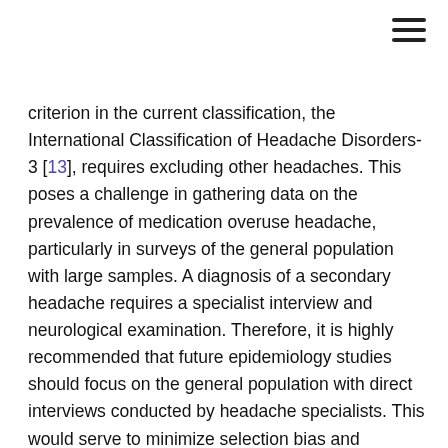criterion in the current classification, the International Classification of Headache Disorders-3 [13], requires excluding other headaches. This poses a challenge in gathering data on the prevalence of medication overuse headache, particularly in surveys of the general population with large samples. A diagnosis of a secondary headache requires a specialist interview and neurological examination. Therefore, it is highly recommended that future epidemiology studies should focus on the general population with direct interviews conducted by headache specialists. This would serve to minimize selection bias and increase diagnostic precision [27].